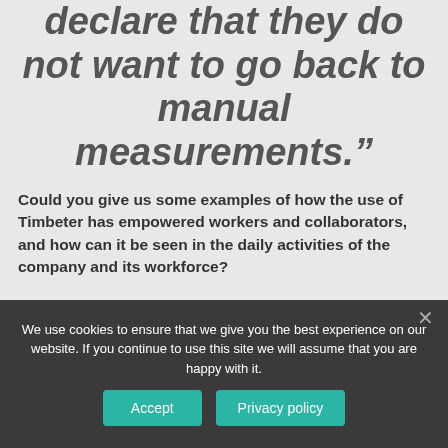declare that they do not want to go back to manual measurements.”
Could you give us some examples of how the use of Timbeter has empowered workers and collaborators, and how can it be seen in the daily activities of the company and its workforce?
We use cookies to ensure that we give you the best experience on our website. If you continue to use this site we will assume that you are happy with it.